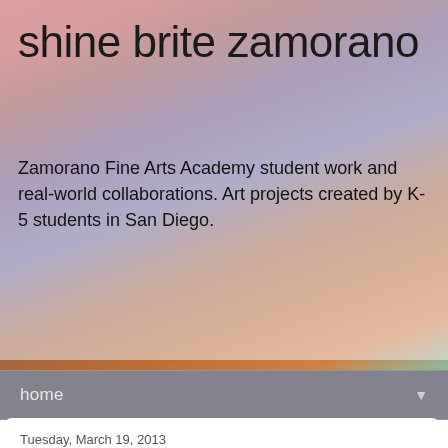shine brite zamorano
Zamorano Fine Arts Academy student work and real-world collaborations. Art projects created by K-5 students in San Diego.
home
Tuesday, March 19, 2013
kinder clouds
This week the kinders got DIRTY!
They had the chance to full on paint for the first time with me this year and, of course, they loved it:)
All the kinders made very flat space collages last week. There was some overlapping for limitied depth, but the designs were intentionally flat.